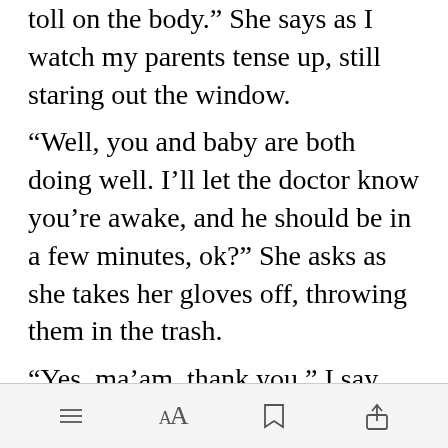toll on the body.” She says as I watch my parents tense up, still staring out the window.
“Well, you and baby are both doing well. I’ll let the doctor know you’re awake, and he should be in a few minutes, ok?” She asks as she takes her gloves off, throwing them in the trash.
“Yes, ma’am, thank you,” I say, finally looking at her.
[Figure (screenshot): Mobile app toolbar with menu, font size, bookmark, and share icons]